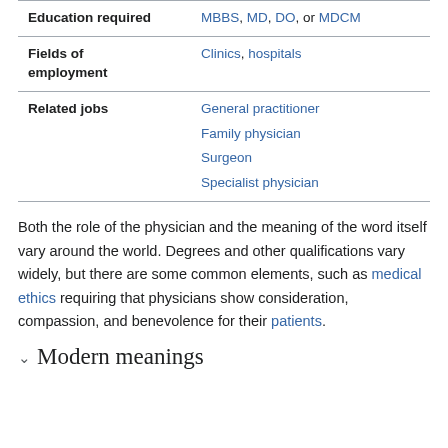| Field | Value |
| --- | --- |
| Education required | MBBS, MD, DO, or MDCM |
| Fields of employment | Clinics, hospitals |
| Related jobs | General practitioner
Family physician
Surgeon
Specialist physician |
Both the role of the physician and the meaning of the word itself vary around the world. Degrees and other qualifications vary widely, but there are some common elements, such as medical ethics requiring that physicians show consideration, compassion, and benevolence for their patients.
Modern meanings